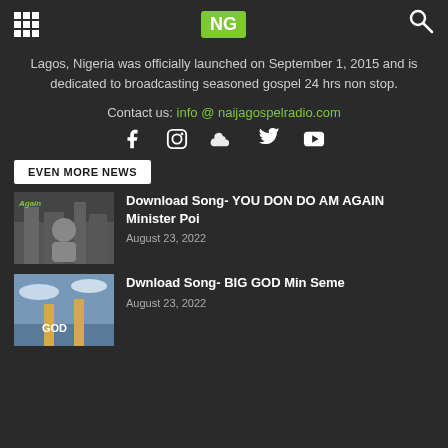NG (logo)
Lagos, Nigeria was officially launched on September 1, 2015 and is dedicated to broadcasting seasoned gospel 24 hrs non stop.
Contact us: info @ naijagospelradio.com
[Figure (infographic): Social media icons: Facebook, Instagram, SoundCloud, Twitter, YouTube]
EVEN MORE NEWS
[Figure (photo): Album cover showing a man in a city background with text 'Again']
Download Song- YOU DON DO AM AGAIN Minister Poi
August 23, 2022
[Figure (photo): Album cover showing GOD text with pillars and sky background]
Dwnload Song- BIG GOD Min Seme
August 23, 2022